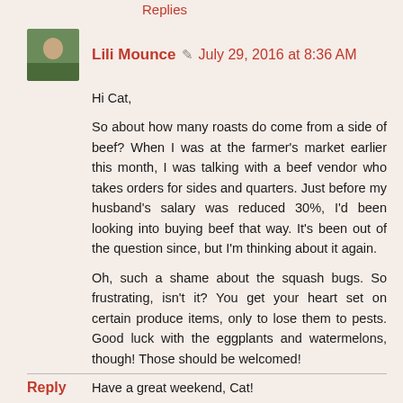Replies
Lili Mounce  July 29, 2016 at 8:36 AM
Hi Cat,

So about how many roasts do come from a side of beef? When I was at the farmer's market earlier this month, I was talking with a beef vendor who takes orders for sides and quarters. Just before my husband's salary was reduced 30%, I'd been looking into buying beef that way. It's been out of the question since, but I'm thinking about it again.

Oh, such a shame about the squash bugs. So frustrating, isn't it? You get your heart set on certain produce items, only to lose them to pests. Good luck with the eggplants and watermelons, though! Those should be welcomed!

Have a great weekend, Cat!
Reply